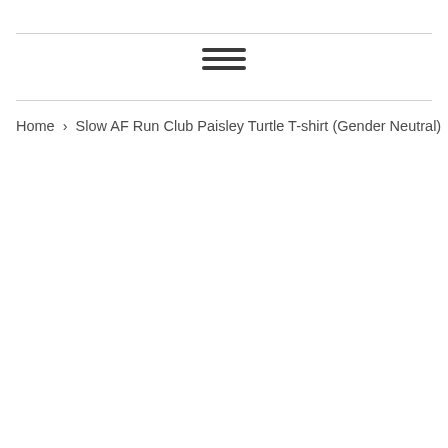[Figure (other): Hamburger menu icon with three horizontal bars]
Home › Slow AF Run Club Paisley Turtle T-shirt (Gender Neutral)